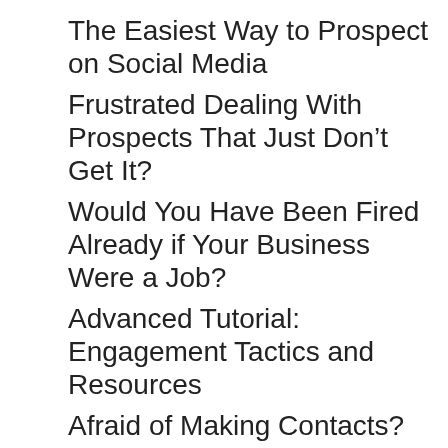The Easiest Way to Prospect on Social Media
Frustrated Dealing With Prospects That Just Don’t Get It?
Would You Have Been Fired Already if Your Business Were a Job?
Advanced Tutorial: Engagement Tactics and Resources
Afraid of Making Contacts? Here’s How to Fix That.
The 7 Infallible Steps For Making Money From Home
How Much Do I Need to Spend on Ads?
Meet the Home Business Academy Freedom